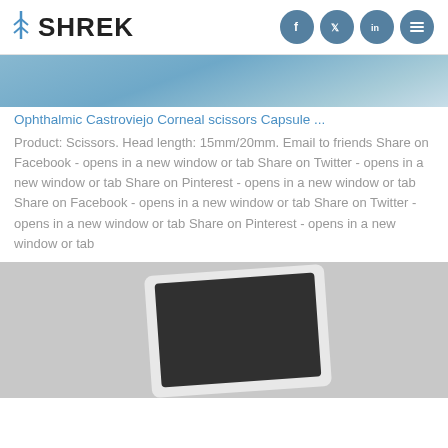SHREK
[Figure (photo): Light blue gradient banner image for product listing]
Ophthalmic Castroviejo Corneal scissors Capsule ...
Product: Scissors. Head length: 15mm/20mm. Email to friends Share on Facebook - opens in a new window or tab Share on Twitter - opens in a new window or tab Share on Pinterest - opens in a new window or tab Share on Facebook - opens in a new window or tab Share on Twitter - opens in a new window or tab Share on Pinterest - opens in a new window or tab
[Figure (photo): Photo of a medical/ophthalmic scissors product, white-framed dark rectangular object on grey background]